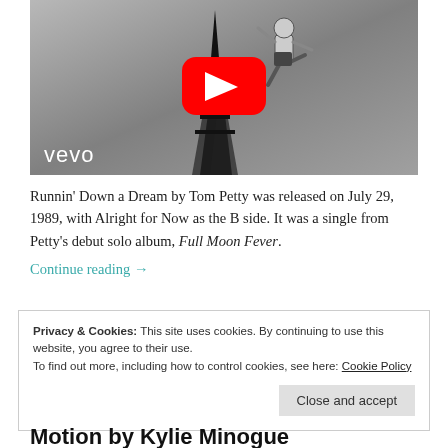[Figure (screenshot): YouTube/Vevo video thumbnail showing a black and white illustration of a person jumping over an Art Deco building with a large red YouTube play button overlay and 'vevo' text in white at the bottom left.]
Runnin' Down a Dream by Tom Petty was released on July 29, 1989, with Alright for Now as the B side. It was a single from Petty's debut solo album, Full Moon Fever.
Continue reading →
Privacy & Cookies: This site uses cookies. By continuing to use this website, you agree to their use.
To find out more, including how to control cookies, see here: Cookie Policy
Close and accept
Motion by Kylie Minogue